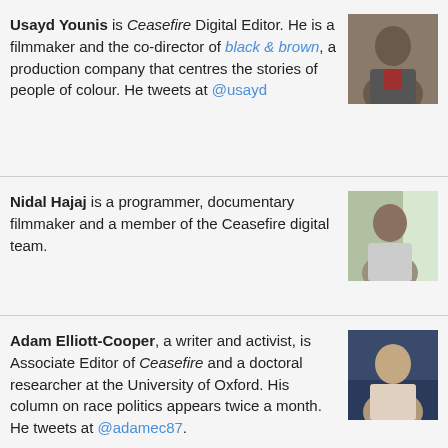Usayd Younis is Ceasefire Digital Editor. He is a filmmaker and the co-director of black & brown, a production company that centres the stories of people of colour. He tweets at @usayd
[Figure (photo): Headshot of Usayd Younis]
Nidal Hajaj is a programmer, documentary filmmaker and a member of the Ceasefire digital team.
[Figure (photo): Headshot of Nidal Hajaj]
Adam Elliott-Cooper, a writer and activist, is Associate Editor of Ceasefire and a doctoral researcher at the University of Oxford. His column on race politics appears twice a month. He tweets at @adamec87.
[Figure (photo): Headshot of Adam Elliott-Cooper]